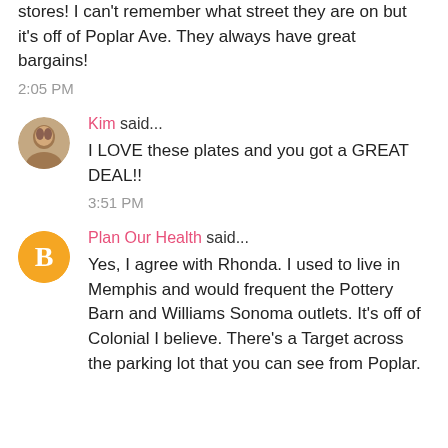stores! I can't remember what street they are on but it's off of Poplar Ave. They always have great bargains!
2:05 PM
Kim said...
I LOVE these plates and you got a GREAT DEAL!!
3:51 PM
Plan Our Health said...
Yes, I agree with Rhonda. I used to live in Memphis and would frequent the Pottery Barn and Williams Sonoma outlets. It's off of Colonial I believe. There's a Target across the parking lot that you can see from Poplar.